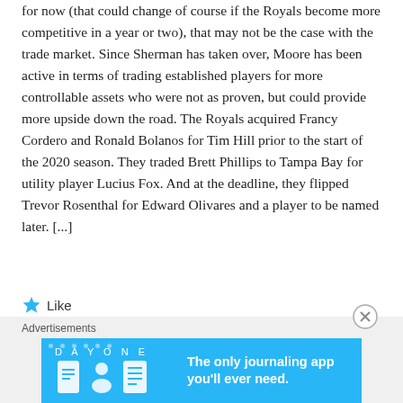for now (that could change of course if the Royals become more competitive in a year or two), that may not be the case with the trade market. Since Sherman has taken over, Moore has been active in terms of trading established players for more controllable assets who were not as proven, but could provide more upside down the road. The Royals acquired Francy Cordero and Ronald Bolanos for Tim Hill prior to the start of the 2020 season. They traded Brett Phillips to Tampa Bay for utility player Lucius Fox. And at the deadline, they flipped Trevor Rosenthal for Edward Olivares and a player to be named later. [...]
[Figure (other): Star icon followed by the word 'Like' — a like/favorite button UI element]
Advertisements
[Figure (infographic): Day One journaling app advertisement banner. Blue background with app icons (journal book, person, notepad) and text: 'DAY ONE' and 'The only journaling app you'll ever need.']